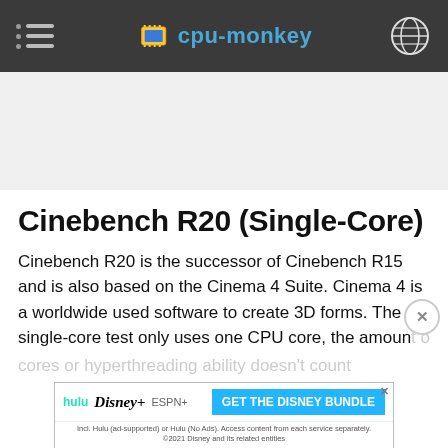cpu-monkey
Cinebench R20 (Single-Core)
Cinebench R20 is the successor of Cinebench R15 and is also based on the Cinema 4 Suite. Cinema 4 is a worldwide used software to create 3D forms. The single-core test only uses one CPU core, the amount of cores or hyperthreading ability doesn't count
[Figure (other): Disney Bundle advertisement banner with Hulu, Disney+, ESPN+ logos and GET THE DISNEY BUNDLE call to action]
AMD Phenom II X4 955